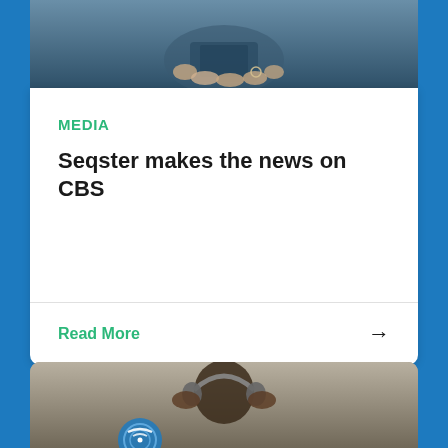[Figure (photo): Top portion of a photo showing hands holding a phone, partially visible at top of page]
MEDIA
Seqster makes the news on CBS
Read More →
[Figure (photo): Bottom photo showing a person wearing headphones, partially visible at bottom of page]